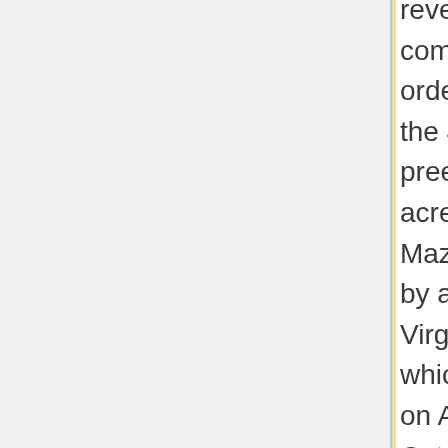reversed the commissioners court and ordered that a grant for the 400 acres plus preemption rights for 1000 acres be awarded to Maze. Hamilton appealed by a writ of error to the Virginia Court of Appeals, which granted the appeal on April 30, 1783. On October 29, 1783, the Court of Appeals dismissed the writ of error, stating that the
commissioners court and ordered that a grant for the 400 acres plus preemption rights for 1000 acres be awarded to Maze. Hamilton appealed by a writ of error to the Virginia Court of Appeals, which granted the appeal on April 30, 1783. On October 29, 1783, the Court of Appeals dismissed the writ of error, stating that the General Court